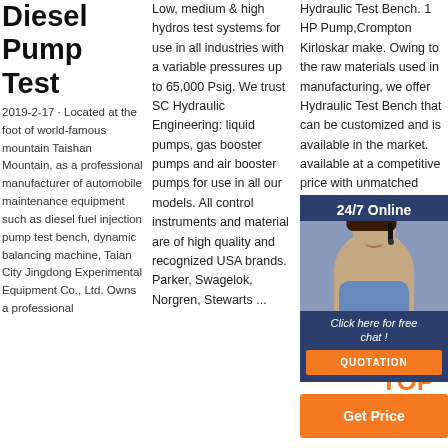Diesel Pump Test
2019-2-17 · Located at the foot of world-famous mountain Taishan Mountain, as a professional manufacturer of automobile maintenance equipment such as diesel fuel injection pump test bench, dynamic balancing machine, Taian City Jingdong Experimental Equipment Co., Ltd. Owns a professional
Low, medium & high hydros test systems for use in all industries with a variable pressures up to 65,000 Psig. We trust SC Hydraulic Engineering: liquid pumps, gas booster pumps and air booster pumps for use in all our models. All control instruments and material are of high quality and recognized USA brands. Parker, Swagelok, Norgren, Stewarts ...
Hydraulic Test Bench. 1 HP Pump,Crompton Kirloskar make. Owing to the raw materials used in manufacturing, we offer Hydraulic Test Bench that can be customized and is available in the market. available at a competitive price with unmatched quality…
[Figure (infographic): 24/7 Online chat widget with woman wearing headset, 'Click here for free chat!' text, orange QUOTATION button]
[Figure (infographic): Orange 'Get Price' button with TOP badge graphic in orange dots/letters]